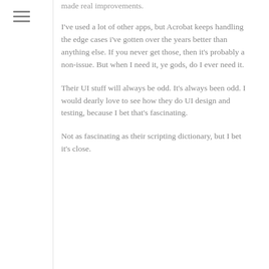made real improvements.
I've used a lot of other apps, but Acrobat keeps handling the edge cases i've gotten over the years better than anything else. If you never get those, then it's probably a non-issue. But when I need it, ye gods, do I ever need it.
Their UI stuff will always be odd. It's always been odd. I would dearly love to see how they do UI design and testing, because I bet that's fascinating.
Not as fascinating as their scripting dictionary, but I bet it's close.